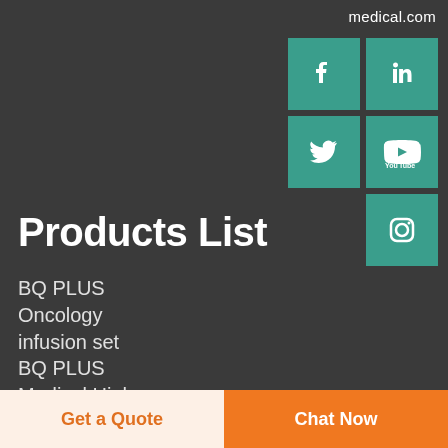medical.com
[Figure (illustration): Social media icons: Facebook, LinkedIn, Twitter, YouTube, Instagram in teal square buttons]
Products List
BQ PLUS Oncology infusion set
BQ PLUS Medical High Precision Filter
Get a Quote | Chat Now